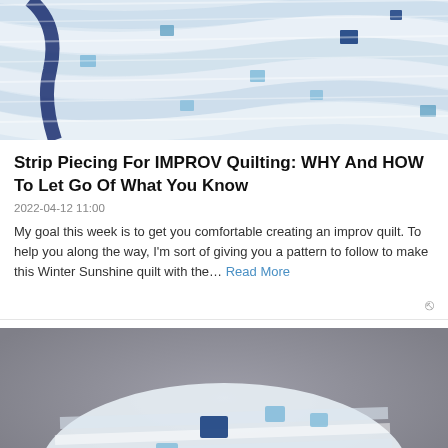[Figure (photo): Close-up of a quilted fabric with white and cream stripes and blue square patches, rolled or curved, showing quilt texture]
Strip Piecing For IMPROV Quilting: WHY And HOW To Let Go Of What You Know
2022-04-12 11:00
My goal this week is to get you comfortable creating an improv quilt. To help you along the way, I'm sort of giving you a pattern to follow to make this Winter Sunshine quilt with the… Read More
[Figure (photo): Photo of a quilted hat or curved quilt piece with white/cream fabric and blue square patches, displayed against a gray background]